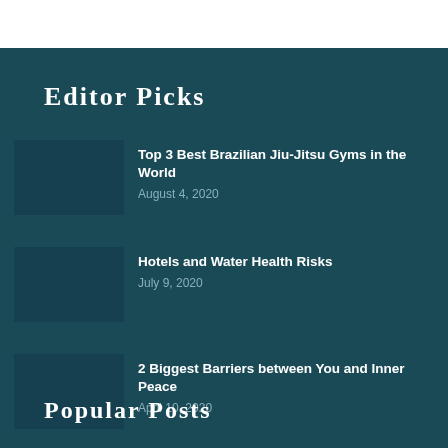EDITOR PICKS
Top 3 Best Brazilian Jiu-Jitsu Gyms in the World
August 4, 2020
Hotels and Water Health Risks
July 9, 2020
2 Biggest Barriers between You and Inner Peace
April 10, 2020
POPULAR POSTS